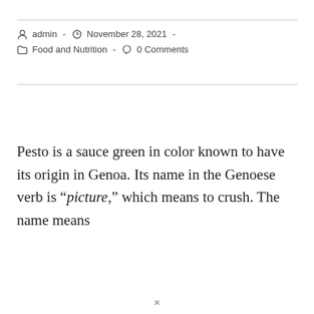admin - November 28, 2021 - Food and Nutrition - 0 Comments
Pesto is a sauce green in color known to have its origin in Genoa. Its name in the Genoese verb is “picture,” which means to crush. The name means